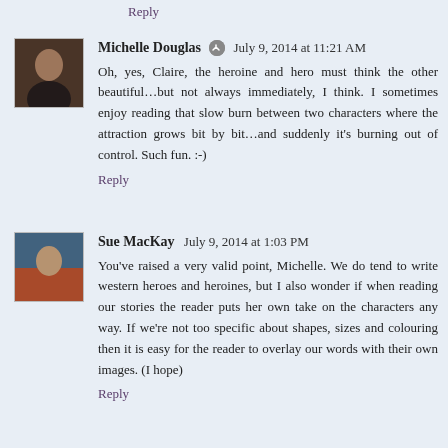Reply
Michelle Douglas  July 9, 2014 at 11:21 AM
Oh, yes, Claire, the heroine and hero must think the other beautiful…but not always immediately, I think. I sometimes enjoy reading that slow burn between two characters where the attraction grows bit by bit…and suddenly it's burning out of control. Such fun. :-)
Reply
Sue MacKay  July 9, 2014 at 1:03 PM
You've raised a very valid point, Michelle. We do tend to write western heroes and heroines, but I also wonder if when reading our stories the reader puts her own take on the characters any way. If we're not too specific about shapes, sizes and colouring then it is easy for the reader to overlay our words with their own images. (I hope)
Reply